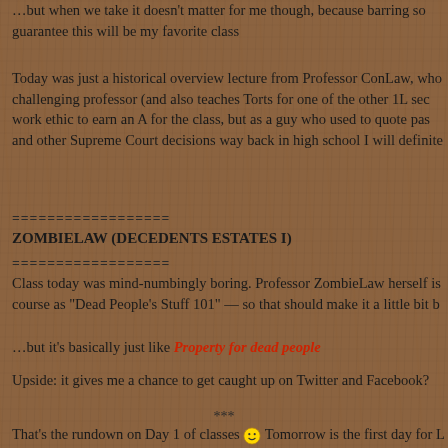…but when we take it doesn't matter for me though, because barring some guarantee this will be my favorite class
Today was just a historical overview lecture from Professor ConLaw, who challenging professor (and also teaches Torts for one of the other 1L sec work ethic to earn an A for the class, but as a guy who used to quote pas and other Supreme Court decisions way back in high school I will definite
==================
ZOMBIELAW (DECEDENTS ESTATES I)
==================
Class today was mind-numbingly boring. Professor ZombieLaw herself is course as "Dead People's Stuff 101" — so that should make it a little bit b
…but it's basically just like Property for dead people
Upside: it gives me a chance to get caught up on Twitter and Facebook?
***
That's the rundown on Day 1 of classes 🙂 Tomorrow is the first day for L and ZombieLaw before I'm done for the day.
For anyone else reading this who's already started classes, I hope you h everyone else, have a great night! 😄